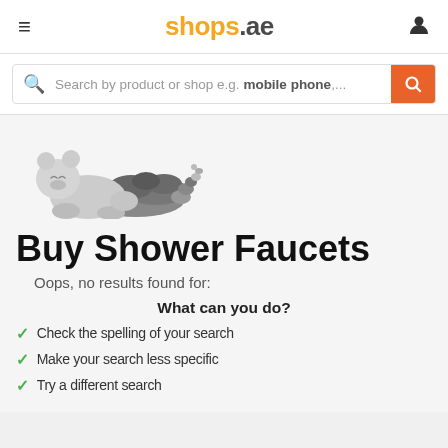shops.ae
Search by product or shop e.g. mobile phone,...
[Figure (illustration): A cartoon polar bear lying on a pile of grey rocks, looking sad or sleeping]
Buy Shower Faucets
Oops, no results found for:
What can you do?
Check the spelling of your search
Make your search less specific
Try a different search